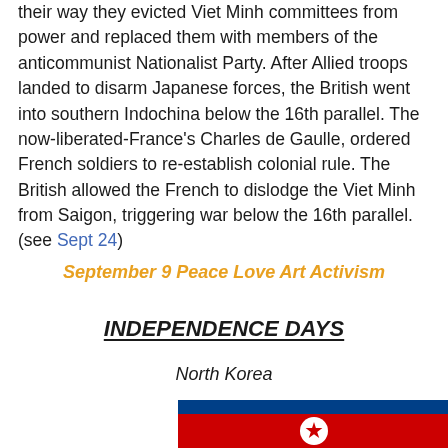their way they evicted Viet Minh committees from power and replaced them with members of the anticommunist Nationalist Party. After Allied troops landed to disarm Japanese forces, the British went into southern Indochina below the 16th parallel. The now-liberated-France's Charles de Gaulle, ordered French soldiers to re-establish colonial rule. The British allowed the French to dislodge the Viet Minh from Saigon, triggering war below the 16th parallel. (see Sept 24)
September 9 Peace Love Art Activism
INDEPENDENCE DAYS
North Korea
[Figure (illustration): North Korea flag — top blue stripe, large red middle section with white circle containing a red star, bottom blue stripe (partially visible)]